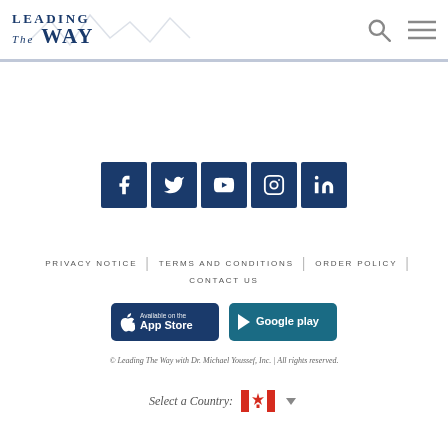[Figure (logo): Leading The Way logo in dark navy blue with serif font]
[Figure (illustration): Five social media icon buttons (Facebook, Twitter, YouTube, Instagram, LinkedIn) in dark navy blue square buttons]
PRIVACY NOTICE | TERMS AND CONDITIONS | ORDER POLICY | CONTACT US
[Figure (illustration): App Store and Google Play buttons in dark navy blue]
© Leading The Way with Dr. Michael Youssef, Inc. | All rights reserved.
[Figure (illustration): Select a Country dropdown with Canadian flag]